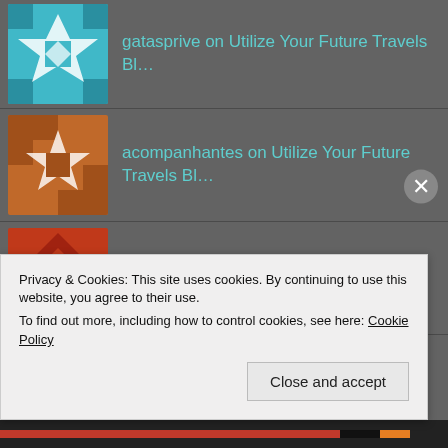gatasprive on Utilize Your Future Travels Bl...
acompanhantes on Utilize Your Future Travels Bl...
lil SOLID on Shopping For Women's Jew...
web page on Shopping For Women's Jew...
vinröda byxor dam on Shopping For Women's Jew...
film streaming sveri... on Shopping For Women's Jew...
Privacy & Cookies: This site uses cookies. By continuing to use this website, you agree to their use.
To find out more, including how to control cookies, see here: Cookie Policy
Close and accept